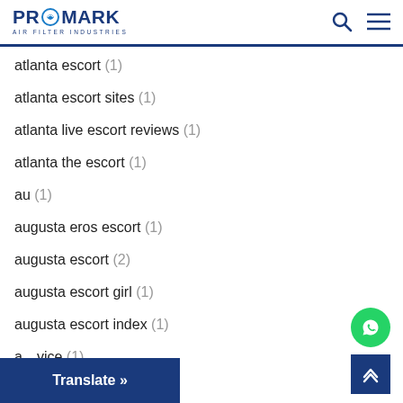PROMARK AIR FILTER INDUSTRIES
atlanta escort (1)
atlanta escort sites (1)
atlanta live escort reviews (1)
atlanta the escort (1)
au (1)
augusta eros escort (1)
augusta escort (2)
augusta escort girl (1)
augusta escort index (1)
a...vice (1)